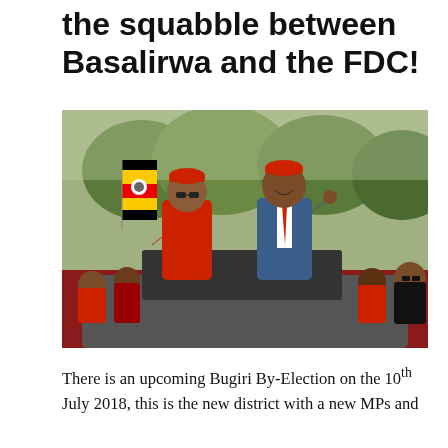the squabble between Basalirwa and the FDC!
[Figure (photo): Two men standing through the sunroof of a vehicle waving to a crowd. The man on the left wears an all-red outfit with a red beret and sunglasses and holds a Ugandan flag. The man on the right wears a blue suit with a red tie and red beret, giving a thumbs up. A crowd dressed in red surrounds the vehicle outdoors.]
There is an upcoming Bugiri By-Election on the 10th July 2018, this is the new district with a new MPs and